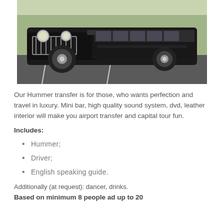[Figure (photo): A black stretch Hummer limousine photographed from a low front angle in a parking lot]
Our Hummer transfer is for those, who wants perfection and travel in luxury. Mini bar, high quality sound system, dvd, leather interior will make you airport transfer and capital tour fun.
Includes:
Hummer;
Driver;
English speaking guide.
Additionally (at request): dancer, drinks.
Based on minimum 8 people ad up to 20